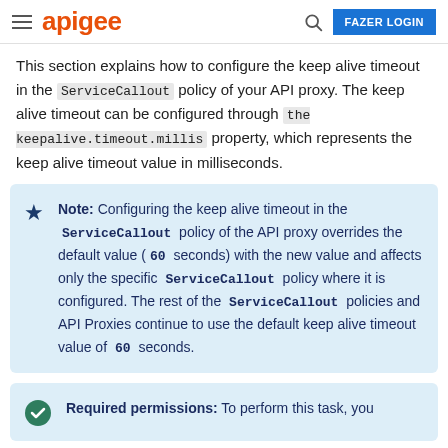apigee | FAZER LOGIN
This section explains how to configure the keep alive timeout in the ServiceCallout policy of your API proxy. The keep alive timeout can be configured through the keepalive.timeout.millis property, which represents the keep alive timeout value in milliseconds.
Note: Configuring the keep alive timeout in the ServiceCallout policy of the API proxy overrides the default value (60 seconds) with the new value and affects only the specific ServiceCallout policy where it is configured. The rest of the ServiceCallout policies and API Proxies continue to use the default keep alive timeout value of 60 seconds.
Required permissions: To perform this task, you